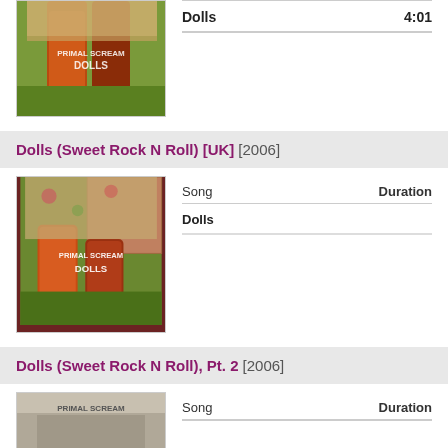[Figure (photo): Album cover for Primal Scream Dolls, showing legs in orange/red boots with floral top, partial top crop]
| Song | Duration |
| --- | --- |
| Dolls | 4:01 |
Dolls (Sweet Rock N Roll) [UK] [2006]
[Figure (photo): Album cover for Primal Scream Dolls, full square image showing legs in orange boots with floral top]
| Song | Duration |
| --- | --- |
| Dolls |  |
Dolls (Sweet Rock N Roll), Pt. 2 [2006]
[Figure (photo): Album cover for Primal Scream (partial, cut off at bottom)]
| Song | Duration |
| --- | --- |